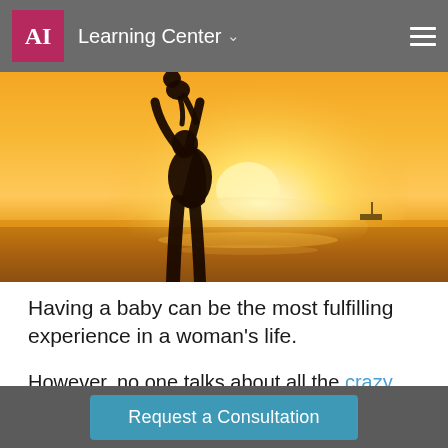AI Learning Center
[Figure (photo): Silhouette of a woman lifting a baby against a golden sunset at a beach, with water reflecting sunlight in the background.]
Having a baby can be the most fulfilling experience in a woman's life.
However, no one talks about all the crazy changes that happen after you give birth. And, in a society where body image is everything, it can be hard to
Request a Consultation